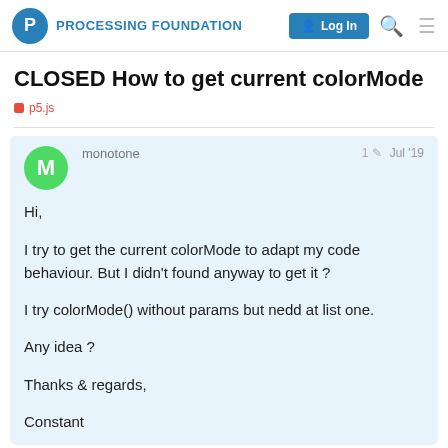PROCESSING FOUNDATION
CLOSED How to get current colorMode
p5.js
monotone   1  Jul '19
Hi,

I try to get the current colorMode to adapt my code behaviour. But I didn't found anyway to get it ?

I try colorMode() without params but nedd at list one.

Any idea ?

Thanks & regards,

Constant
1 / 6